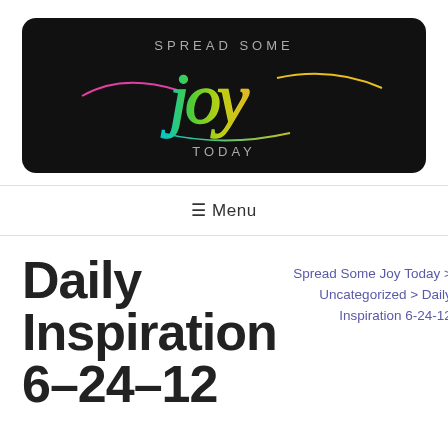[Figure (logo): Spread Some Joy Today logo on black rounded rectangle background with colorful rainbow script lettering spelling 'joy' and text 'SPREAD SOME' above and 'TODAY' below]
≡ Menu
Daily Inspiration 6-24-12
Spread Some Joy Today > Uncategorized > Daily Inspiration 6-24-12